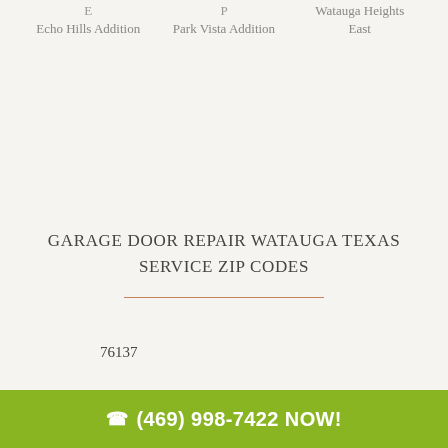E
Echo Hills Addition
P
Park Vista Addition
Watauga Heights East
GARAGE DOOR REPAIR WATAUGA TEXAS SERVICE ZIP CODES
76137
(469) 998-7422 NOW!